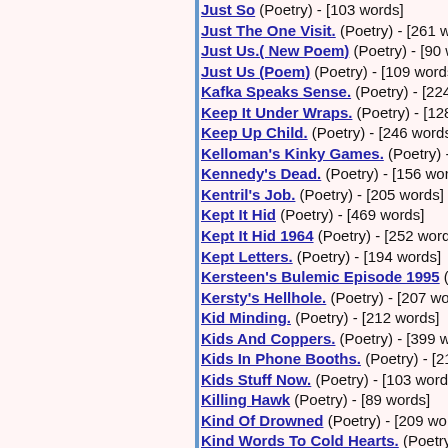Just So (Poetry) - [103 words]
Just The One Visit. (Poetry) - [261 words]
Just Us.( New Poem) (Poetry) - [90 words]
Just Us (Poem) (Poetry) - [109 words]
Kafka Speaks Sense. (Poetry) - [224 words]
Keep It Under Wraps. (Poetry) - [128 words]
Keep Up Child. (Poetry) - [246 words]
Kelloman's Kinky Games. (Poetry) - [332 wor…]
Kennedy's Dead. (Poetry) - [156 words]
Kentril's Job. (Poetry) - [205 words]
Kept It Hid (Poetry) - [469 words]
Kept It Hid 1964 (Poetry) - [252 words]
Kept Letters. (Poetry) - [194 words]
Kersteen's Bulemic Episode 1995 (Poetry) - […]
Kersty's Hellhole. (Poetry) - [207 words]
Kid Minding. (Poetry) - [212 words]
Kids And Coppers. (Poetry) - [399 words]
Kids In Phone Booths. (Poetry) - [210 words]
Kids Stuff Now. (Poetry) - [103 words]
Killing Hawk (Poetry) - [89 words]
Kind Of Drowned (Poetry) - [209 words]
Kind Words To Cold Hearts. (Poetry) - [87 wo…]
Kiss Kiss 1973 (Poetry) - [60 words]
Kiss Me Quick 1975 (Poetry) - [83 words]
Kiss Of Kisses. (Poetry) - [236 words]